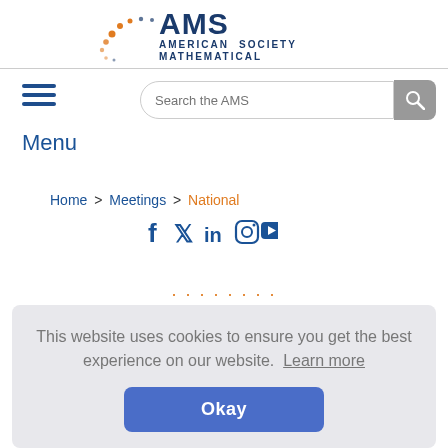[Figure (logo): AMS - American Mathematical Society logo with dots arc and blue text]
Search the AMS
Menu
Home > Meetings > National
[Figure (infographic): Social media icons: Facebook, Twitter, LinkedIn, Instagram, YouTube in dark blue]
This website uses cookies to ensure you get the best experience on our website.  Learn more
Okay
and Adriana Salerno, assistant professor at